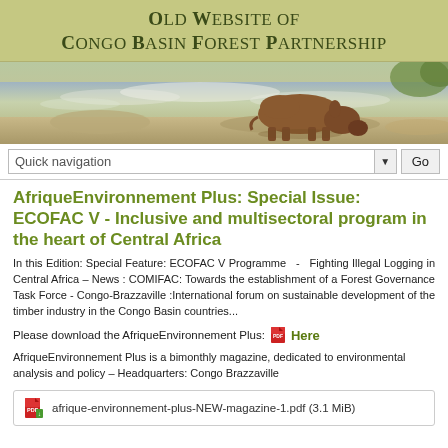Old Website of Congo Basin Forest Partnership
[Figure (photo): Wildlife photo strip showing a buffalo or similar large animal drinking at a river or water source, with rapids in the background]
Quick navigation   Go
AfriqueEnvironnement Plus: Special Issue: ECOFAC V - Inclusive and multisectoral program in the heart of Central Africa
In this Edition: Special Feature: ECOFAC V Programme  -  Fighting Illegal Logging in Central Africa – News : COMIFAC: Towards the establishment of a Forest Governance Task Force - Congo-Brazzaville :International forum on sustainable development of the timber industry in the Congo Basin countries...
Please download the AfriqueEnvironnement Plus:  Here
AfriqueEnvironnement Plus is a bimonthly magazine, dedicated to environmental analysis and policy – Headquarters: Congo Brazzaville
afrique-environnement-plus-NEW-magazine-1.pdf (3.1 MiB)